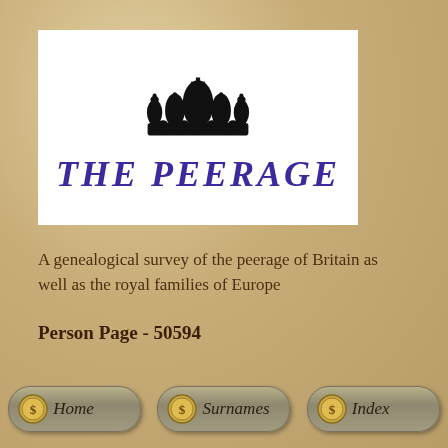[Figure (logo): The Peerage logo: black crown above the text 'THE PEERAGE' in dark purple/indigo serif italic capitals, on white background]
A genealogical survey of the peerage of Britain as well as the royal families of Europe
Person Page - 50594
[Figure (other): Navigation buttons: Home, Surnames, Index — rounded pill-shaped buttons with golden coin/medallion icons on taupe/grey background]
Home   Surnames   Index